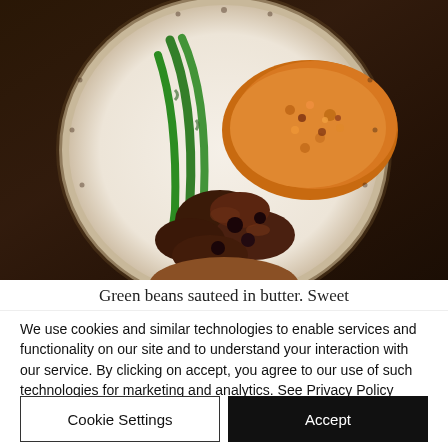[Figure (photo): Overhead photo of a white plate with decorative dark rim held by a hand, containing green beans sautéed in butter, brown braised meat pieces, and an orange/yellow crumble or grain dish, on a dark wood background.]
Green beans sauteed in butter. Sweet
We use cookies and similar technologies to enable services and functionality on our site and to understand your interaction with our service. By clicking on accept, you agree to our use of such technologies for marketing and analytics. See Privacy Policy
Cookie Settings
Accept